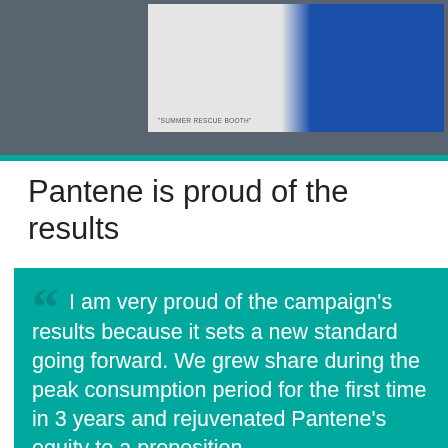[Figure (photo): Photo of Pantene summer rescue booth and branded blue VW bus vehicle on white background]
"SUMMER RESCUE BOOTH"
Pantene is proud of the results
“ I am very proud of the campaign's results because it sets a new standard going forward. We grew share during the peak consumption period for the first time in 3 years and rejuvenated Pantene's equity to a proposition